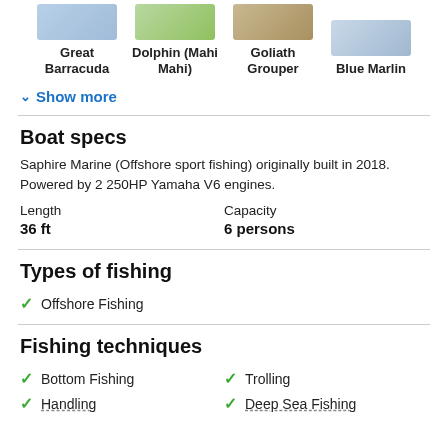[Figure (illustration): Row of fish illustrations: Great Barracuda, Dolphin (Mahi Mahi), Goliath Grouper, Blue Marlin with their names below]
Show more
Boat specs
Saphire Marine (Offshore sport fishing) originally built in 2018. Powered by 2 250HP Yamaha V6 engines.
| Length | Capacity |
| --- | --- |
| 36 ft | 6 persons |
Types of fishing
Offshore Fishing
Fishing techniques
Bottom Fishing
Trolling
Handling
Deep Sea Fishing